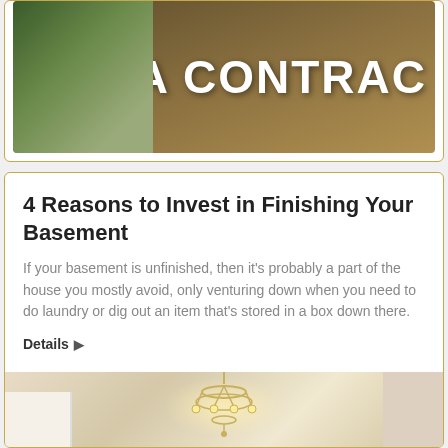[Figure (photo): Partial image of a contractor or worker outdoors with large white bold text 'A CONTRAC' (cropped) overlaid on the image]
4 Reasons to Invest in Finishing Your Basement
If your basement is unfinished, then it's probably a part of the house you mostly avoid, only venturing down when you need to do laundry or dig out an item that's stored in a box down there.
Details ▶
[Figure (photo): Interior photo of a finished basement or room with a chandelier, white cabinetry on the left, and warm lighting]